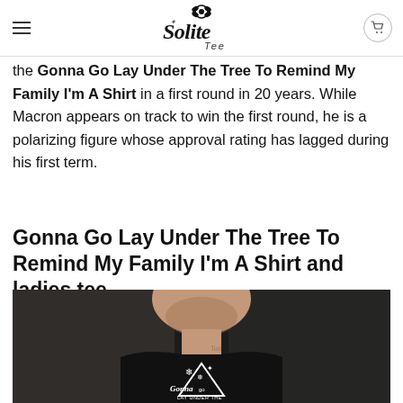Solite Tee
the Gonna Go Lay Under The Tree To Remind My Family I'm A Shirt in a first round in 20 years. While Macron appears on track to win the first round, he is a polarizing figure whose approval rating has lagged during his first term.
Gonna Go Lay Under The Tree To Remind My Family I'm A Shirt and ladies tee
[Figure (photo): Man wearing a black t-shirt with 'Gonna Go Lay Under The Tree' Christmas-themed graphic design with snowflakes and a tree silhouette]